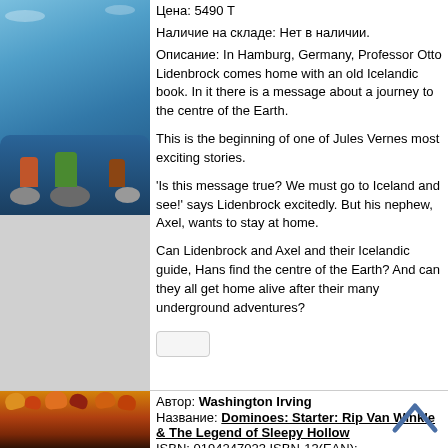[Figure (illustration): Cartoon illustration of adventure scene with characters on water/rocks, colourful animated style]
Цена: 5490 Т
Наличие на складе: Нет в наличии.
Описание: In Hamburg, Germany, Professor Otto Lidenbrock comes home with an old Icelandic book. In it there is a message about a journey to the centre of the Earth.

This is the beginning of one of Jules Vernes most exciting stories.

'Is this message true? We must go to Iceland and see!' says Lidenbrock excitedly. But his nephew, Axel, wants to stay at home.

Can Lidenbrock and Axel and their Icelandic guide, Hans find the centre of the Earth? And can they all get home alive after their many underground adventures?
[Figure (illustration): Autumn scene illustration with orange, red and brown leaves and foliage]
Автор: Washington Irving
Название: Dominoes: Starter: Rip Van Winkle & The Legend of Sleepy Hollow
ISBN: 0194247023 ISBN-13(EAN): 9780194247023
Издательство: Oxford University Press
Рейтинг: